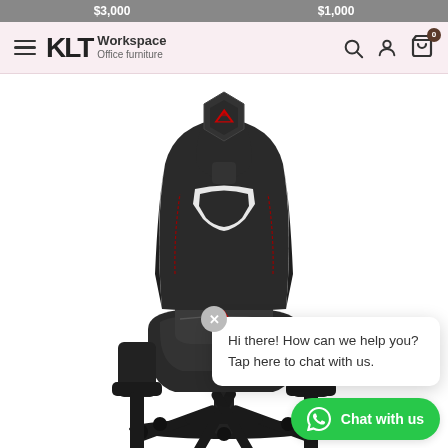$3,000   $1,000
[Figure (logo): KLT Workspace Office Furniture logo with hamburger menu, search, account, and cart icons]
[Figure (photo): ASUS ROG gaming chair in black with red ROG logo stitching, front view, on white background]
Hi there! How can we help you? Tap here to chat with us.
Chat with us